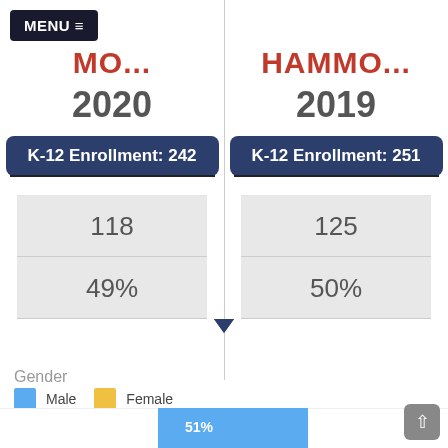MENU ≡
HAMMO... 2020
K-12 Enrollment: 242
118
49%
HAMMO... 2019
K-12 Enrollment: 251
125
50%
Gender
Male   Female
[Figure (bar-chart): Gender]